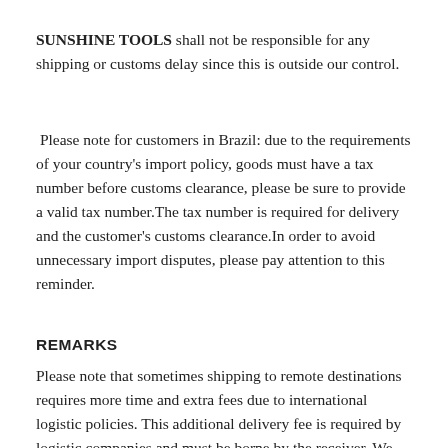SUNSHINE TOOLS shall not be responsible for any shipping or customs delay since this is outside our control.
Please note for customers in Brazil: due to the requirements of your country's import policy, goods must have a tax number before customs clearance, please be sure to provide a valid tax number.The tax number is required for delivery and the customer's customs clearance.In order to avoid unnecessary import disputes, please pay attention to this reminder.
REMARKS
Please note that sometimes shipping to remote destinations requires more time and extra fees due to international logistic policies. This additional delivery fee is required by logistic companies and must be borne by the receiver. We are not responsible for non-delivery caused by that client don't provide enough information when making order.